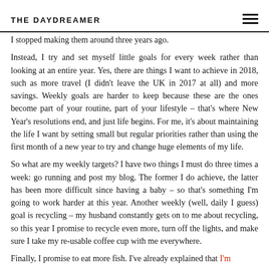THE DAYDREAMER
I don't believe in New Year's resolutions. In the past, I've made them, and I've failed at them because I've set unrealistic challenges for myself. And nothing feels worse than failing, so I stopped making them around three years ago.
Instead, I try and set myself little goals for every week rather than looking at an entire year. Yes, there are things I want to achieve in 2018, such as more travel (I didn't leave the UK in 2017 at all) and more savings. Weekly goals are harder to keep because these are the ones become part of your routine, part of your lifestyle – that's where New Year's resolutions end, and just life begins. For me, it's about maintaining the life I want by setting small but regular priorities rather than using the first month of a new year to try and change huge elements of my life.
So what are my weekly targets? I have two things I must do three times a week: go running and post my blog. The former I do achieve, the latter has been more difficult since having a baby – so that's something I'm going to work harder at this year. Another weekly (well, daily I guess) goal is recycling – my husband constantly gets on to me about recycling, so this year I promise to recycle even more, turn off the lights, and make sure I take my re-usable coffee cup with me everywhere.
Finally, I promise to eat more fish. I've already explained that I'm